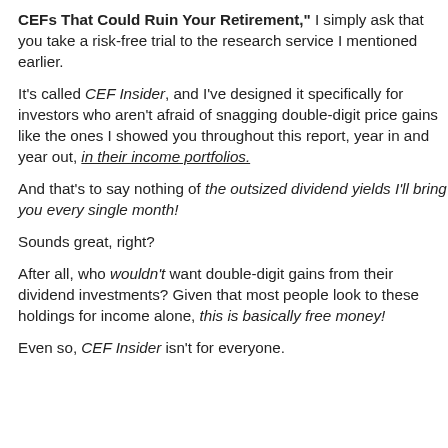CEFs That Could Ruin Your Retirement," simply ask that you take a risk-free trial to the research service I mentioned earlier.
It's called CEF Insider, and I've designed it specifically for investors who aren't afraid of snagging double-digit price gains like the ones showed you throughout this report, year in and year out, in their income portfolios.
And that's to say nothing of the outsized dividend yields I'll bring you every single month!
Sounds great, right?
After all, who wouldn't want double-digit gains from their dividend investments? Given that most people look to these holdings for income alone, this is basically free money!
Even so, CEF Insider isn't for everyone.